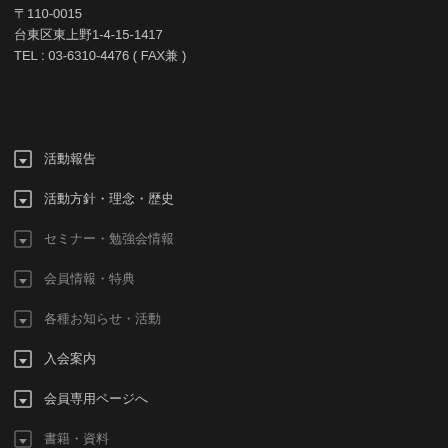〒110-0015
台東区東上野1-4-15-1417
TEL : 03-6310-4476 ( FAX兼 )
活動報告
活動方針・理念・歴史
セミナー・勉強会情報
会員情報・特典
各種お知らせ・活動
入会案内
会員専用ページへ
書籍・資料
リンク集
お問合せ